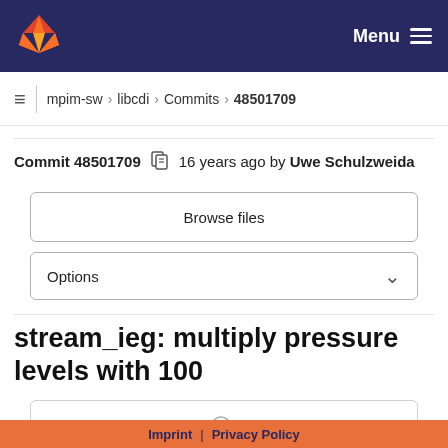GitLab — Menu
mpim-sw › libcdi › Commits › 48501709
Commit 48501709  16 years ago by Uwe Schulzweida
Browse files
Options
stream_ieg: multiply pressure levels with 100
parent 565671ec
No related merge requests found
Imprint | Privacy Policy